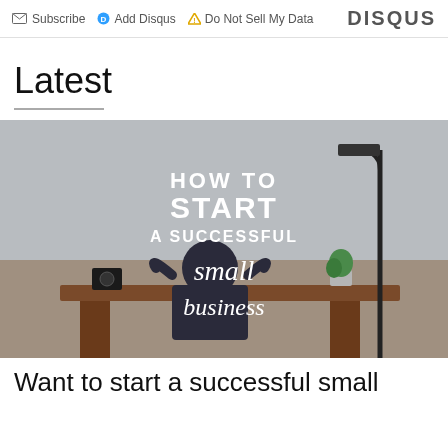Subscribe  Add Disqus  Do Not Sell My Data  DISQUS
Latest
[Figure (photo): Photo of a person sitting at a wooden desk with hands behind head, a lamp and plant in the background, with overlaid text: HOW TO START A SUCCESSFUL small business]
Want to start a successful small